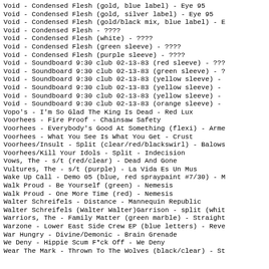Void - Condensed Flesh (gold, blue label) - Eye 95
Void - Condensed Flesh (gold, silver label) - Eye 95
Void - Condensed Flesh (gold/black mix, blue label) - E
Void - Condensed Flesh - ????
Void - Condensed Flesh (white) - ????
Void - Condensed Flesh (green sleeve) - ????
Void - Condensed Flesh (purple sleeve) - ????
Void - Soundboard 9:30 club 02-13-83 (red sleeve) - ???
Void - Soundboard 9:30 club 02-13-83 (green sleeve) - ?
Void - Soundboard 9:30 club 02-13-83 (yellow sleeve) -
Void - Soundboard 9:30 club 02-13-83 (yellow sleeve) -
Void - Soundboard 9:30 club 02-13-83 (yellow sleeve) -
Void - Soundboard 9:30 club 02-13-83 (orange sleeve) -
Vopo's - I'm So Glad The King Is Dead - Red Lux
Voorhees - Fire Proof - Chainsaw Safety
Voorhees - Everybody's Good At Something (flexi) - Arme
Voorhees - What You See Is What You Get - Crust
Voorhees/Insult - Split (clear/red/blackswirl) - Balows
Voorhees/Kill Your Idols - Split - Indecision
Vows, The - s/t (red/clear) - Dead And Gone
Vultures, The - s/t (purple) - La Vida Es Un Mus
Wake Up Call - Demo 05 (blue, red spraypaint #7/30) - M
Walk Proud - Be Yourself (green) - Nemesis
Walk Proud - One More Time (red) - Nemesis
Walter Schreifels - Distance - Mannequin Republic
Walter Schreifels (Walter Walter)Garrison - split (whit
Warriors, The - Family Matter (green marble) - Straight
Warzone - Lower East Side Crew EP (blue letters) - Reve
War Hungry - Divine/Demonic - Brain Grenade
We Deny - Hippie Scum F*ck Off - We Deny
Wear The Mark - Thrown To The Wolves (black/clear) - St